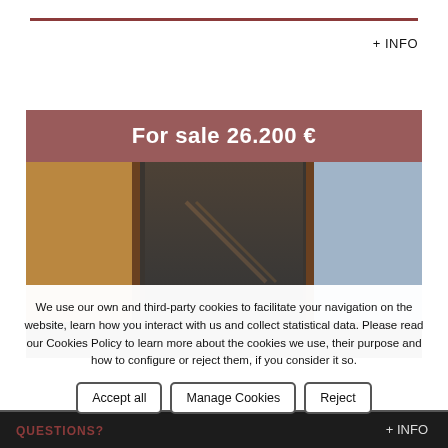+ INFO
[Figure (photo): Interior photo of a property showing a staircase, wooden flooring, and grayish-blue walls with a price banner overlay reading 'For sale 26.200 €']
For sale 26.200 €
We use our own and third-party cookies to facilitate your navigation on the website, learn how you interact with us and collect statistical data. Please read our Cookies Policy to learn more about the cookies we use, their purpose and how to configure or reject them, if you consider it so.
Accept all
Manage Cookies
Reject
QUESTIONS?
+ INFO